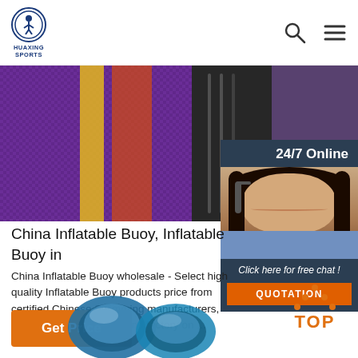[Figure (logo): Huaxing Sports logo - circular emblem with stylized figure, text 'HUAXING SPORTS' below]
[Figure (photo): Hero banner image showing colorful sports/inflatable products including purple, yellow, red fabric items]
[Figure (photo): 24/7 Online chat widget with woman wearing headset, dark teal background, 'Click here for free chat!' text and orange QUOTATION button]
China Inflatable Buoy, Inflatable Buoy in
China Inflatable Buoy wholesale - Select high quality Inflatable Buoy products price from certified Chinese Swimming manufacturers, China Tent suppliers, w and factory on ...
[Figure (other): Orange 'Get Price' button]
[Figure (other): Orange TOP button with dot triangle above text TOP]
[Figure (photo): Blue inflatable buoy product photo at bottom left]